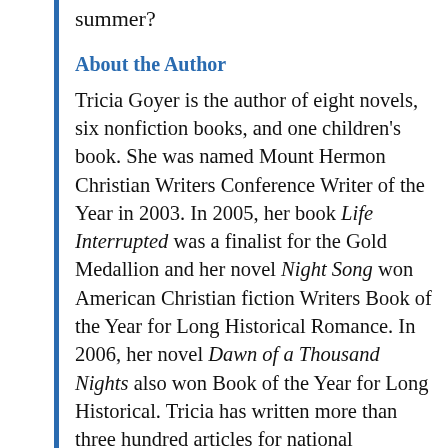summer?
About the Author
Tricia Goyer is the author of eight novels, six nonfiction books, and one children’s book. She was named Mount Hermon Christian Writers Conference Writer of the Year in 2003. In 2005, her book Life Interrupted was a finalist for the Gold Medallion and her novel Night Song won American Christian fiction Writers Book of the Year for Long Historical Romance. In 2006, her novel Dawn of a Thousand Nights also won Book of the Year for Long Historical. Tricia has written more than three hundred articles for national publications and hundreds of Bible study notes for the Women of Faith Study Bible. Tricia lives with her husband and three kids in